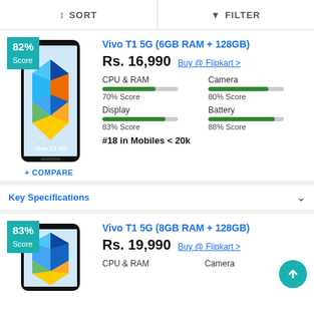SORT   FILTER
[Figure (screenshot): Vivo T1 5G smartphone product listing card with 82% score badge, phone image showing colorful geometric design, price Rs. 16,990, Buy @ Flipkart link, CPU & RAM 70% score, Camera 80% score, Display 83% score, Battery 88% score, #18 in Mobiles < 20k]
Vivo T1 5G (6GB RAM + 128GB)
Rs. 16,990   Buy @ Flipkart >
CPU & RAM 70% Score   Camera 80% Score   Display 83% Score   Battery 88% Score
#18 in Mobiles < 20k
+ COMPARE
Key Specifications
[Figure (screenshot): Vivo T1 5G 8GB RAM phone listing with 83% score badge, phone image, Rs. 19,990, Buy @ Flipkart link, CPU & RAM and Camera labels]
Vivo T1 5G (8GB RAM + 128GB)
Rs. 19,990   Buy @ Flipkart >
CPU & RAM   Camera